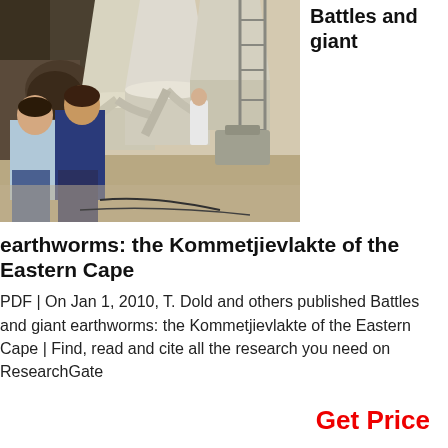[Figure (photo): Industrial facility interior showing large conical silos/hoppers with piping, two men in foreground conversing, worker in white in background]
Battles and giant earthworms: the Kommetjievlakte of the Eastern Cape
PDF | On Jan 1, 2010, T. Dold and others published Battles and giant earthworms: the Kommetjievlakte of the Eastern Cape | Find, read and cite all the research you need on ResearchGate
Get Price